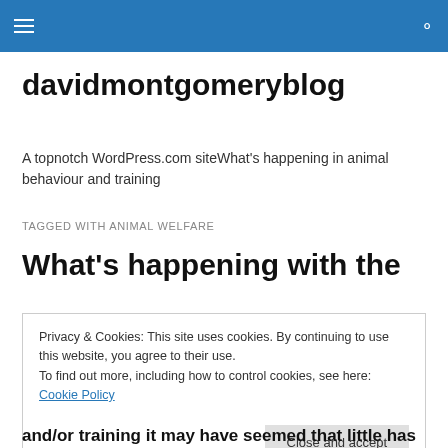davidmontgomeryblog
A topnotch WordPress.com siteWhat's happening in animal behaviour and training
TAGGED WITH ANIMAL WELFARE
What's happening with the
Privacy & Cookies: This site uses cookies. By continuing to use this website, you agree to their use.
To find out more, including how to control cookies, see here: Cookie Policy
Close and accept
and/or training it may have seemed that little has